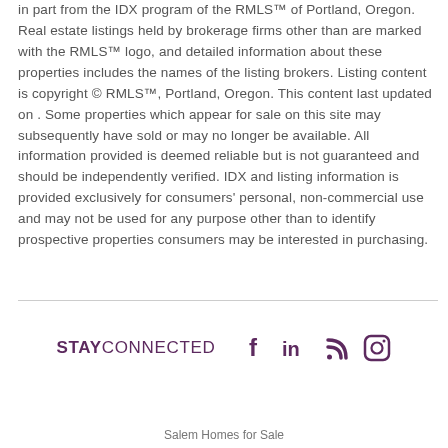in part from the IDX program of the RMLS™ of Portland, Oregon. Real estate listings held by brokerage firms other than are marked with the RMLS™ logo, and detailed information about these properties includes the names of the listing brokers. Listing content is copyright © RMLS™, Portland, Oregon. This content last updated on . Some properties which appear for sale on this site may subsequently have sold or may no longer be available. All information provided is deemed reliable but is not guaranteed and should be independently verified. IDX and listing information is provided exclusively for consumers' personal, non-commercial use and may not be used for any purpose other than to identify prospective properties consumers may be interested in purchasing.
STAY CONNECTED
[Figure (other): Social media icons: Facebook, LinkedIn, RSS feed, Instagram — displayed in purple/maroon color]
Salem Homes for Sale